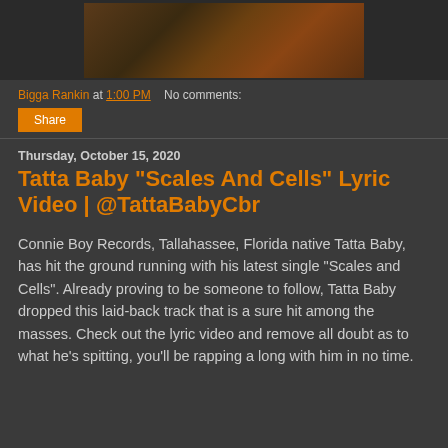[Figure (photo): Partially visible image at top of page, appears to be a dark stylized text/logo on a wooden background]
Bigga Rankin at 1:00 PM   No comments:
Share
Thursday, October 15, 2020
Tatta Baby "Scales And Cells" Lyric Video | @TattaBabyCbr
Connie Boy Records, Tallahassee, Florida native Tatta Baby, has hit the ground running with his latest single “Scales and Cells”. Already proving to be someone to follow, Tatta Baby dropped this laid-back track that is a sure hit among the masses. Check out the lyric video and remove all doubt as to what he’s spitting, you’ll be rapping a long with him in no time.